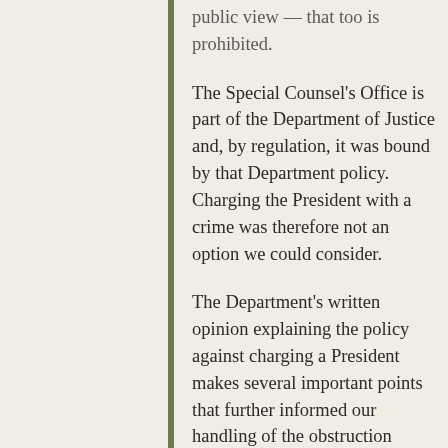public view — that too is prohibited.
The Special Counsel's Office is part of the Department of Justice and, by regulation, it was bound by that Department policy. Charging the President with a crime was therefore not an option we could consider.
The Department's written opinion explaining the policy against charging a President makes several important points that further informed our handling of the obstruction investigation. Those points are summarized in our report. And I will describe two of them:
First, the opinion explicitly permits the investigation of a sitting President